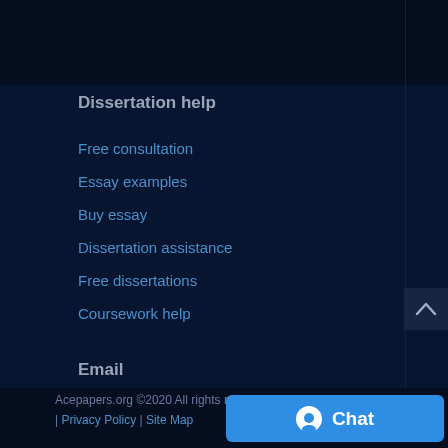Dissertation help
Free consultation
Essay examples
Buy essay
Dissertation assistance
Free dissertations
Coursework help
Email
info@eminencepapers.com
Acepapers.org ©2020 All rights reserved. Terms of | Privacy Policy | Site Map